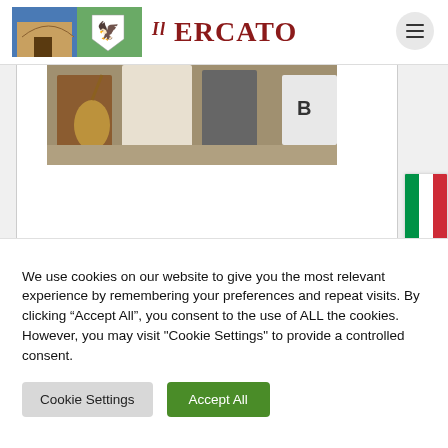[Figure (logo): Il Mercato website logo with a medieval gate/coat-of-arms image on the left and 'Il Mercato' text in dark red serif font on the right]
[Figure (photo): Partial photograph of people at a street market or medieval fair, showing legs and lower bodies of figures in period costume on a stone-paved street]
[Figure (other): Italian flag icon (green, white, red vertical stripes)]
We use cookies on our website to give you the most relevant experience by remembering your preferences and repeat visits. By clicking “Accept All”, you consent to the use of ALL the cookies. However, you may visit "Cookie Settings" to provide a controlled consent.
Cookie Settings
Accept All